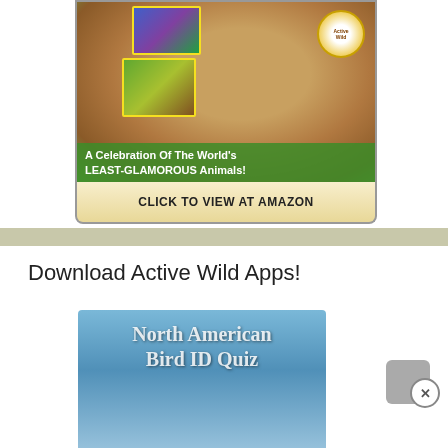[Figure (illustration): Advertisement image showing a close-up of a monkey face with small photos of other animals overlaid, green banner text reading 'A Celebration Of The World's LEAST-GLAMOROUS Animals!', and a yellow 'CLICK TO VIEW AT AMAZON' button below.]
Download Active Wild Apps!
[Figure (screenshot): App store image showing 'North American Bird ID Quiz' text on a blue background.]